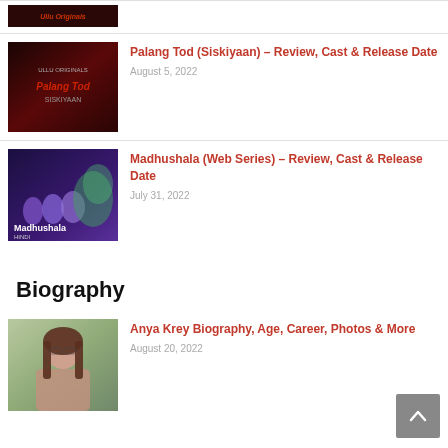[Figure (photo): Thumbnail image for a web series article, dark background]
Palang Tod (Siskiyaan) – Review, Cast & Release Date
August 5, 2022
[Figure (photo): Madhushala web series thumbnail with purple background and cast]
Madhushala (Web Series) – Review, Cast & Release Date
July 31, 2022
Biography
[Figure (photo): Anya Krey portrait photo with outdoor background]
Anya Krey Biography, Age, Career, Photos & More
August 20, 2022